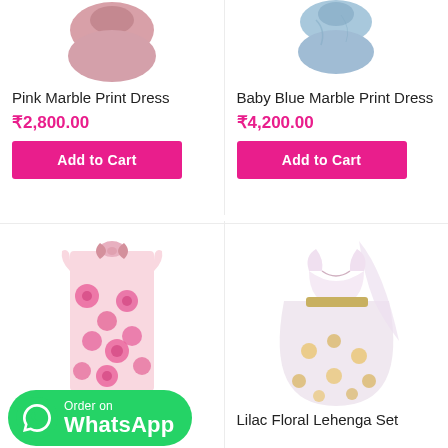[Figure (photo): Pink Marble Print Dress product image - partial view of pink dress top portion]
[Figure (photo): Baby Blue Marble Print Dress product image - partial view of blue marble print dress top portion]
Pink Marble Print Dress
₹2,800.00
Add to Cart
Baby Blue Marble Print Dress
₹4,200.00
Add to Cart
[Figure (photo): Pink floral rose print dress with bow at neckline - children's sleeveless dress]
[Figure (photo): Lilac Floral Lehenga Set - light purple/white lehenga with floral pattern and dupatta]
Lilac Floral Lehenga Set
[Figure (logo): WhatsApp Order button - green rounded rectangle with WhatsApp icon and text 'Order on WhatsApp']